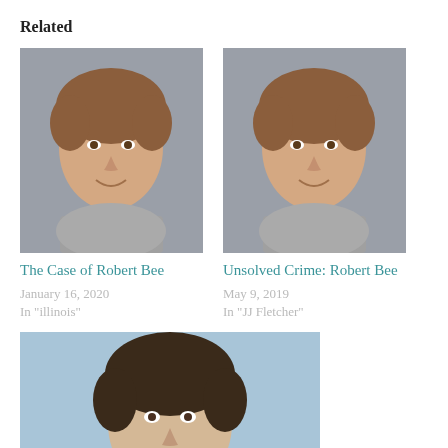Related
[Figure (photo): School photo of a smiling boy with brown hair against grey background]
The Case of Robert Bee
January 16, 2020
In "illinois"
[Figure (photo): School photo of a smiling boy with brown hair against grey background]
Unsolved Crime: Robert Bee
May 9, 2019
In "JJ Fletcher"
[Figure (photo): School photo of a smiling boy with dark hair against blue background]
Unsolved Crime: Dalton Mesarchik
May 23, 2019
In "Dalton Mesarchik"